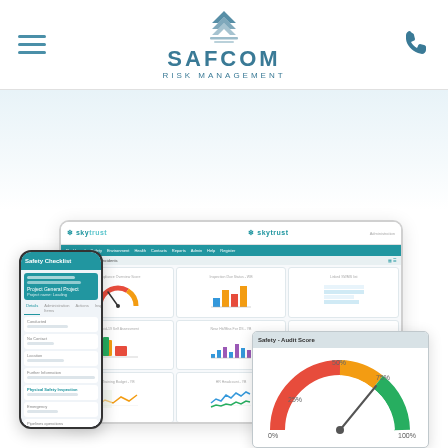[Figure (screenshot): Safcom Risk Management website header with hamburger menu icon on left, Safcom Risk Management logo in center (with geometric arrow/shield icon above text), and phone icon on right. Below is a light blue gradient hero band. Lower portion shows software screenshots: a tablet displaying the Skytrust risk management dashboard with multiple chart panels (gauge charts, bar charts, line charts in a 3x3 grid), a mobile phone showing a Safety Checklist form screen, and a popup showing 'Safety - Audit Score' gauge chart with red-to-green arc and needle pointing around 70%, with percentage markers at 25%, 50%, 75%, and 100%.]